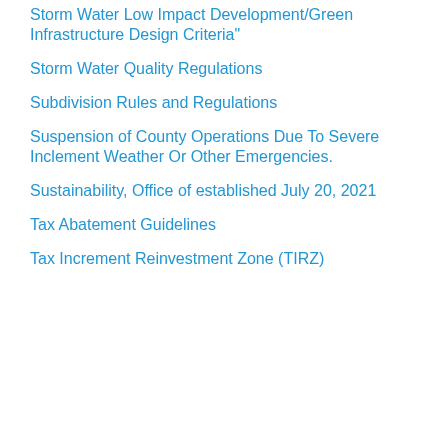Storm Water Low Impact Development/Green Infrastructure Design Criteria"
Storm Water Quality Regulations
Subdivision Rules and Regulations
Suspension of County Operations Due To Severe Inclement Weather Or Other Emergencies.
Sustainability, Office of established July 20, 2021
Tax Abatement Guidelines
Tax Increment Reinvestment Zone (TIRZ)